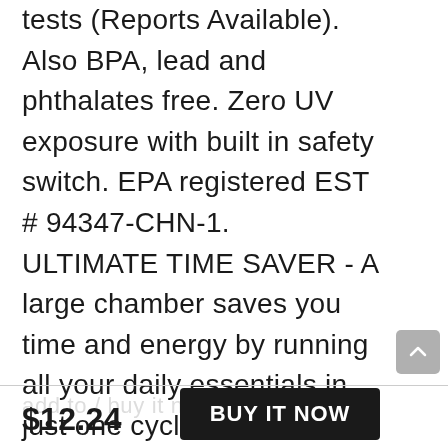tests (Reports Available). Also BPA, lead and phthalates free. Zero UV exposure with built in safety switch. EPA registered EST # 94347-CHN-1. ULTIMATE TIME SAVER - A large chamber saves you time and energy by running all your daily essentials in just one cycle! Fits 12 bottles or a 10-inch Tablet. Package includes a basket and 3 spare filters. 30-DAY FREE TRIAL, EASY RETURN, NO
$12.24
BUY IT NOW